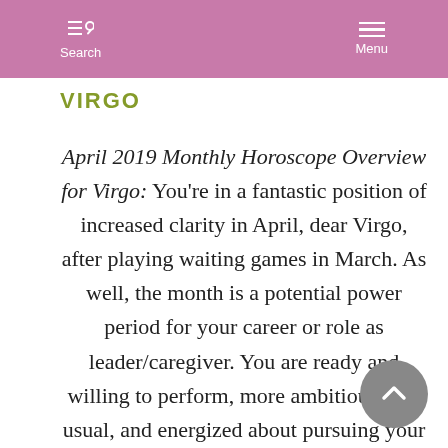Search | Menu
VIRGO
April 2019 Monthly Horoscope Overview for Virgo: You're in a fantastic position of increased clarity in April, dear Virgo, after playing waiting games in March. As well, the month is a potential power period for your career or role as leader/caregiver. You are ready and willing to perform, more ambitious than usual, and energized about pursuing your goals.